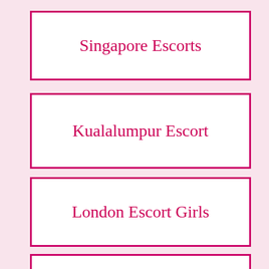Singapore Escorts
Kualalumpur Escort
London Escort Girls
Mumbai Escort Club
WhatsApp us +971543944182
Mumbai Call Girls